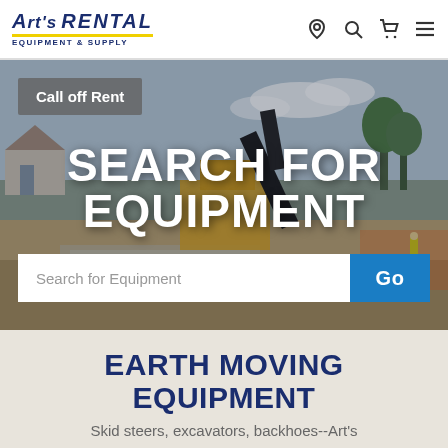[Figure (logo): Art's Rental Equipment & Supply logo — navy blue text with italic styling and yellow underline bar]
[Figure (screenshot): Navigation icons: location pin, search magnifier, shopping cart, hamburger menu]
[Figure (photo): Hero background photo of a construction site with John Deere excavator, workers in high-vis vests, dirt ground, suburban street, blue sky]
Call off Rent
SEARCH FOR EQUIPMENT
Search for Equipment
Go
EARTH MOVING EQUIPMENT
Skid steers, excavators, backhoes--Art's